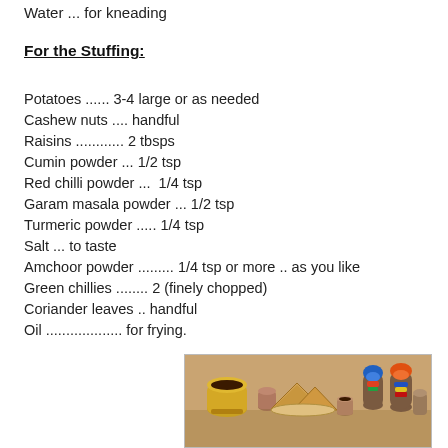Water ... for kneading
For the Stuffing:
Potatoes ...... 3-4 large or as needed
Cashew nuts .... handful
Raisins ............ 2 tbsps
Cumin powder ... 1/2 tsp
Red chilli powder ...  1/4 tsp
Garam masala powder ... 1/2 tsp
Turmeric powder ..... 1/4 tsp
Salt ... to taste
Amchoor powder .......... 1/4 tsp or more .. as you like
Green chillies ......... 2 (finely chopped)
Coriander leaves .. handful
Oil ................... for frying.
[Figure (photo): Photo of samosas and Indian decorative figurines arranged on a table with a brass cup of chutney]